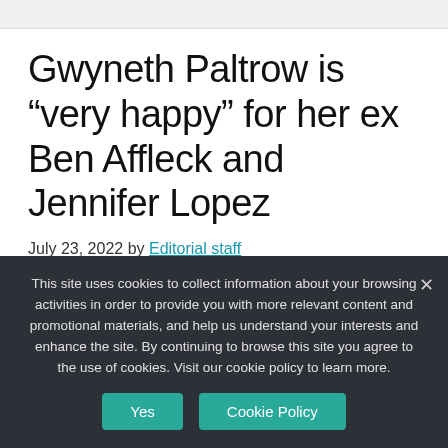Gwyneth Paltrow is “very happy” for her ex Ben Affleck and Jennifer Lopez
July 23, 2022 by Editorial staff
This site uses cookies to collect information about your browsing activities in order to provide you with more relevant content and promotional materials, and help us understand your interests and enhance the site. By continuing to browse this site you agree to the use of cookies. Visit our cookie policy to learn more.